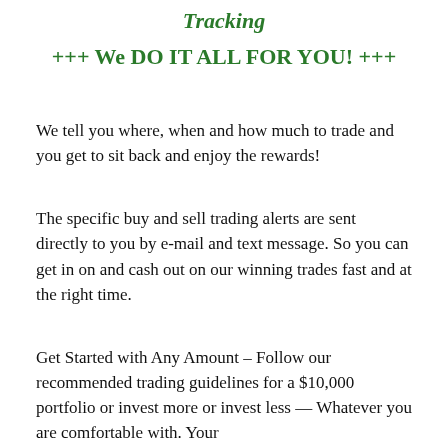Tracking
+++ We DO IT ALL FOR YOU! +++
We tell you where, when and how much to trade and you get to sit back and enjoy the rewards!
The specific buy and sell trading alerts are sent directly to you by e-mail and text message. So you can get in on and cash out on our winning trades fast and at the right time.
Get Started with Any Amount – Follow our recommended trading guidelines for a $10,000 portfolio or invest more or invest less — Whatever you are comfortable with. Your